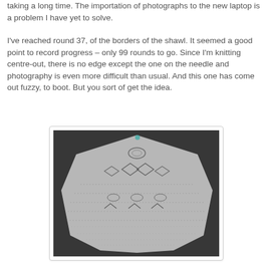taking a long time. The importation of photographs to the new laptop is a problem I have yet to solve.
I've reached round 37, of the borders of the shawl. It seemed a good point to record progress – only 99 rounds to go. Since I'm knitting centre-out, there is no edge except the one on the needle and photography is even more difficult than usual. And this one has come out fuzzy, to boot. But you sort of get the idea.
[Figure (photo): A fuzzy photograph of a lace shawl in progress, knitted centre-out, showing intricate lace pattern with diamond and arrow motifs on a dark background.]